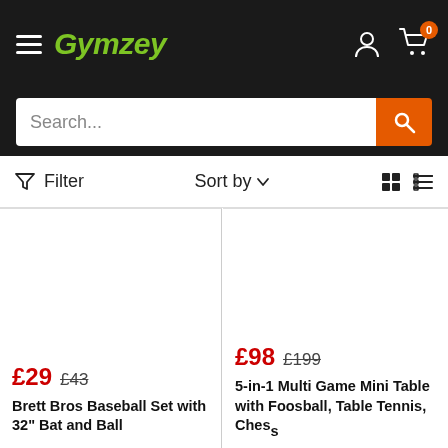Gymzey
Search...
Filter   Sort by   [grid view] [list view]
£29  £43
Brett Bros Baseball Set with 32" Bat and Ball
£98  £199
5-in-1 Multi Game Mini Table with Foosball, Table Tennis, Chess